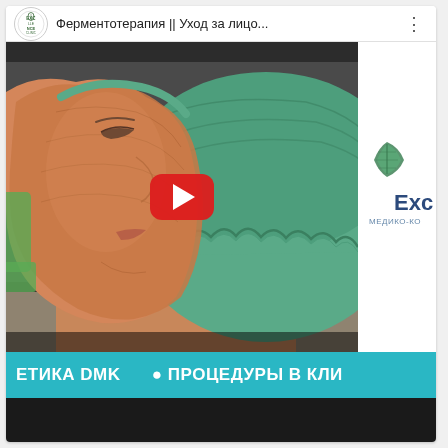[Figure (screenshot): A YouTube-style video card showing a medical/beauty procedure video. Top bar has Excellence Clinic logo and Russian title 'Ферментотерапия || Уход за лицо...' with three-dot menu. The thumbnail shows a woman lying down wearing a green surgical cap with a treatment mask on her face. A red YouTube play button is centered. To the right is a partial white sidebar with 'Exc' logo and 'МЕДИКО-КО' text. At the bottom is a teal banner with white bold text 'ЕТИКА DMK  • ПРОЦЕДУРЫ В КЛИ' and a black strip below.]